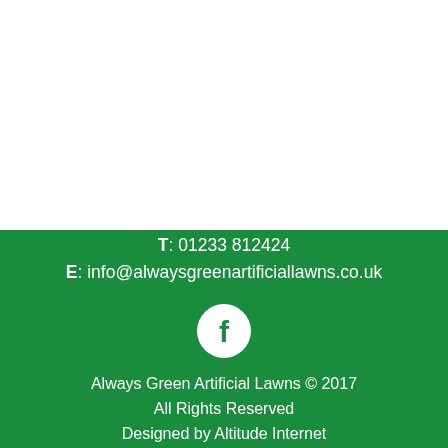T: 01233 812424
E: info@alwaysgreenartificiallawns.co.uk
[Figure (logo): Facebook icon - white circle with green F logo]
Always Green Artificial Lawns © 2017
All Rights Reserved
Designed by Altitude Internet